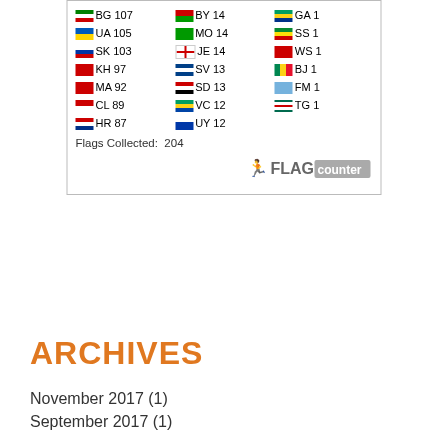[Figure (other): Flag counter widget showing country flags with visit counts. Countries shown: BG 107, UA 105, SK 103, KH 97, MA 92, CL 89, HR 87, BY 14, MO 14, JE 14, SV 13, SD 13, VC 12, UY 12, GA 1, SS 1, WS 1, BJ 1, FM 1, TG 1. Flags Collected: 204. FLAG counter logo at bottom right.]
ARCHIVES
November 2017 (1)
September 2017 (1)
May 2017 (1)
November 2016 (2)
October 2016 (1)
November 2015 (1)
October 2015 (3)
July 2015 (1)
May 2015 (4)